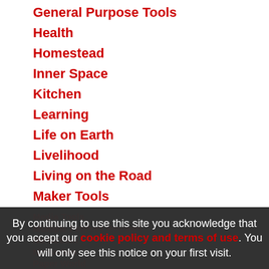General Purpose Tools
Health
Homestead
Inner Space
Kitchen
Learning
Life on Earth
Livelihood
Living on the Road
Maker Tools
Maker Update
Materials
Media Tools
Multiple Product Reviews
No Stream
Nomadico
Paper World
By continuing to use this site you acknowledge that you accept our cookie policy and terms of use. You will only see this notice on your first visit.